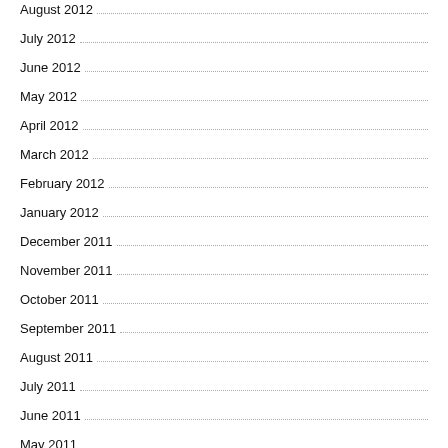August 2012
July 2012
June 2012
May 2012
April 2012
March 2012
February 2012
January 2012
December 2011
November 2011
October 2011
September 2011
August 2011
July 2011
June 2011
May 2011